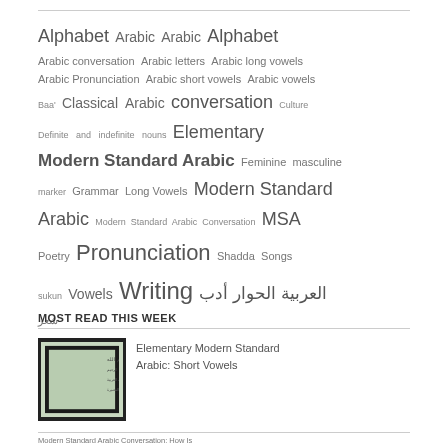Alphabet  Arabic  Arabic  Alphabet  Arabic conversation  Arabic letters  Arabic long vowels  Arabic Pronunciation  Arabic short vowels  Arabic vowels  Baa'  Classical Arabic  conversation  Culture  Definite and indefinite nouns  Elementary Modern Standard Arabic  Feminine masculine marker  Grammar  Long Vowels  Modern Standard Arabic  Modern Standard Arabic Conversation  MSA  Poetry  Pronunciation  Shadda  Songs  sukun  Vowels  Writing  العربية الحوار أدب  شعر
MOST READ THIS WEEK
[Figure (photo): Thumbnail photo of handwritten Arabic text on paper with dark background]
Elementary Modern Standard Arabic: Short Vowels
Modern Standard Arabic Conversation: How Is